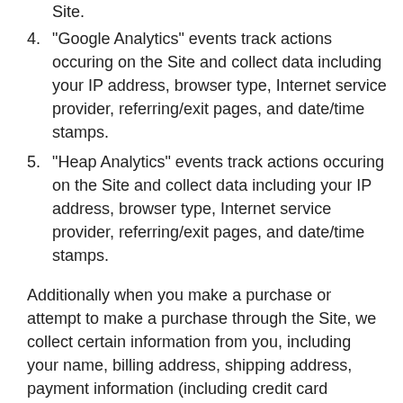Site.
4. "Google Analytics" events track actions occuring on the Site and collect data including your IP address, browser type, Internet service provider, referring/exit pages, and date/time stamps.
5. "Heap Analytics" events track actions occuring on the Site and collect data including your IP address, browser type, Internet service provider, referring/exit pages, and date/time stamps.
Additionally when you make a purchase or attempt to make a purchase through the Site, we collect certain information from you, including your name, billing address, shipping address, payment information (including credit card numbers or PayPal), email address, and phone number. We refer to this information as “Order Information.”
When we talk about “Personal Information” in this Privacy Policy, we are talking about Device Information and